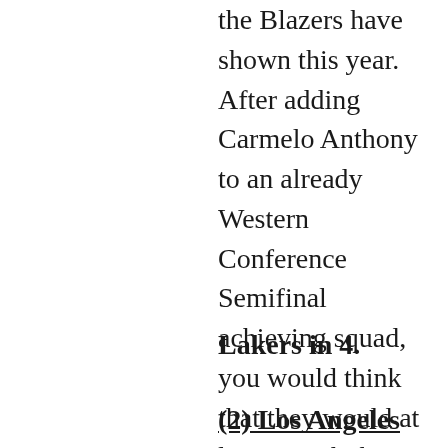the Blazers have shown this year. After adding Carmelo Anthony to an already Western Conference Semifinal achieving squad, you would think that they would at least match that accomplishment this year. Maybe it's the rest of the league getting way better, maybe it's not. Regardless, they lose this series, and need to have a hard look in the mirror.
Lakers in 4.
(2) Los Angeles Clippers vs. (7)